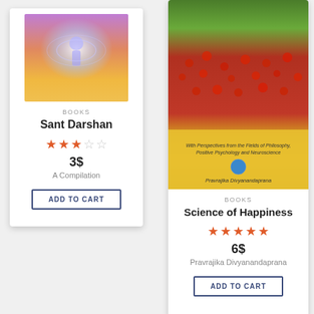[Figure (photo): Book cover for Sant Darshan with spiritual/cosmic imagery - purple and orange gradient with glowing figure]
BOOKS
Sant Darshan
3 out of 5 stars (3 stars filled, 2 empty)
3$
A Compilation
ADD TO CART
[Figure (photo): Book cover for Science of Happiness showing field of red flowers with yellow background, subtitle 'With Perspectives from the Fields of Philosophy, Positive Psychology and Neuroscience', author Pravrajika Divyanandaprana]
BOOKS
Science of Happiness
5 out of 5 stars
6$
Pravrajika Divyanandaprana
ADD TO CART
[Figure (photo): Book cover with VIVEKANANDA text in blue bold letters]
[Figure (photo): Book cover showing ocean/water waves]